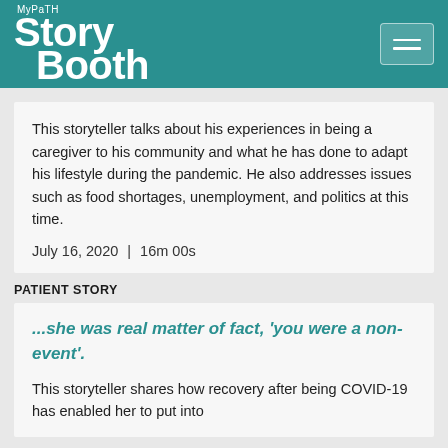MyPaTH Story Booth
This storyteller talks about his experiences in being a caregiver to his community and what he has done to adapt his lifestyle during the pandemic. He also addresses issues such as food shortages, unemployment, and politics at this time.
July 16, 2020  |  16m 00s
PATIENT STORY
...she was real matter of fact, 'you were a non-event'.
This storyteller shares how recovery after being COVID-19 has enabled her to put into...